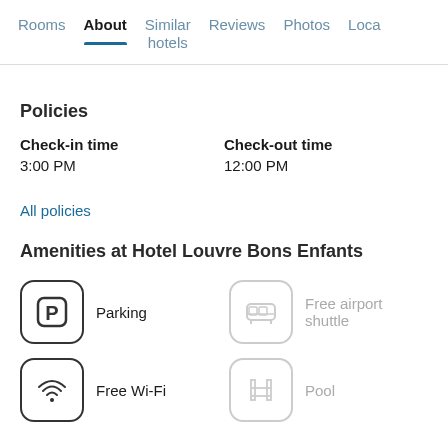Rooms | About | Similar hotels | Reviews | Photos | Loca...
Policies
Check-in time
3:00 PM
Check-out time
12:00 PM
All policies
Amenities at Hotel Louvre Bons Enfants
Parking
Free airport shuttle
Free Wi-Fi
Pool